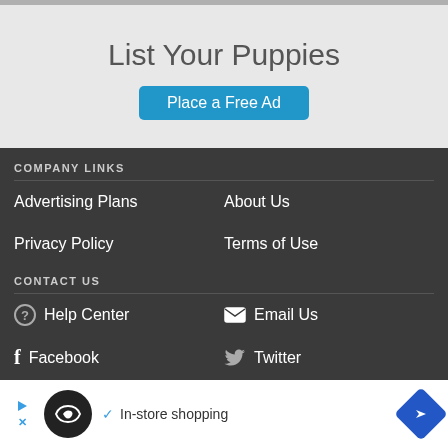List Your Puppies
Place a Free Ad
COMPANY LINKS
Advertising Plans
About Us
Privacy Policy
Terms of Use
CONTACT US
Help Center
Email Us
Facebook
Twitter
Google+
TOP CITIES
Atlanta
[Figure (screenshot): Advertisement banner with Shopular logo, play/close icons, checkmark icon, text 'In-store shopping', and a navigation arrow icon]